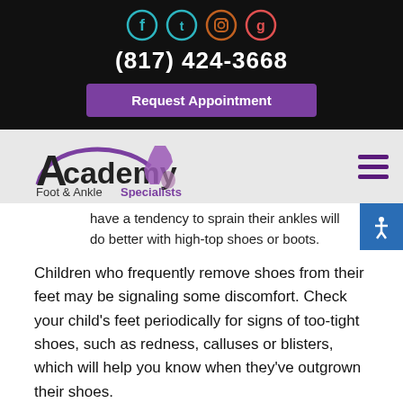[Figure (logo): Social media icons for Facebook, Twitter, Instagram, Google]
(817) 424-3668
Request Appointment
[Figure (logo): Academy Foot & Ankle Specialists logo with Texas state outline]
have a tendency to sprain their ankles will do better with high-top shoes or boots.
Children who frequently remove shoes from their feet may be signaling some discomfort. Check your child's feet periodically for signs of too-tight shoes, such as redness, calluses or blisters, which will help you know when they've outgrown their shoes.
Remember that the primary purpose of shoes is to prevent injury. Shoes seldom correct children's foot deformities or change a foot's growth pattern. Casting, bracing, or surge may be needed if a serious deformity is present. If you notice a problem, please contact our office to have your child's feet